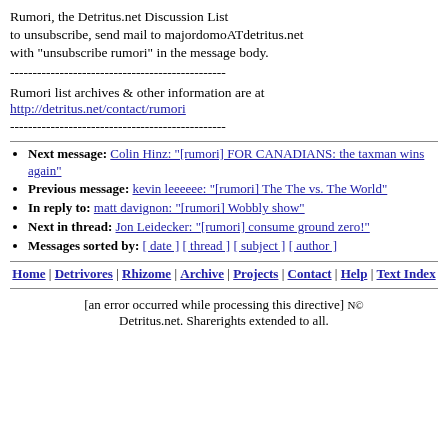Rumori, the Detritus.net Discussion List
to unsubscribe, send mail to majordomoATdetritus.net
with "unsubscribe rumori" in the message body.
------------------------------------------------
Rumori list archives & other information are at
http://detritus.net/contact/rumori
------------------------------------------------
Next message: Colin Hinz: "[rumori] FOR CANADIANS: the taxman wins again"
Previous message: kevin leeeeee: "[rumori] The The vs. The World"
In reply to: matt davignon: "[rumori] Wobbly show"
Next in thread: Jon Leidecker: "[rumori] consume ground zero!"
Messages sorted by: [ date ] [ thread ] [ subject ] [ author ]
Home | Detrivores | Rhizome | Archive | Projects | Contact | Help | Text Index
[an error occurred while processing this directive] N© Detritus.net. Sharerights extended to all.